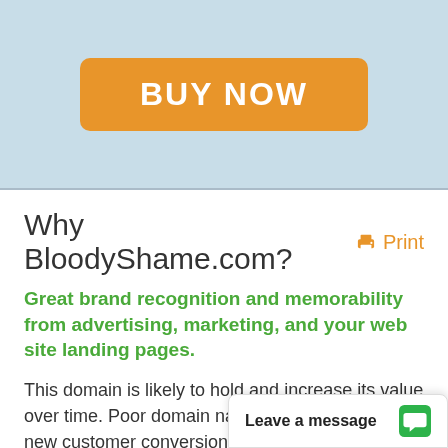[Figure (other): Orange BUY NOW button on light blue banner background]
Why BloodyShame.com?  🖨 Print
Great brand recognition and memorability from advertising, marketing, and your web site landing pages.
This domain is likely to hold and increase its value over time. Poor domain names lose traffic and new customer conversions to better domain named companies, Microsoft Research calls this effect "domain bias in web search." BloodyShame.com is a category killer doma... around the world. S...
Leave a message